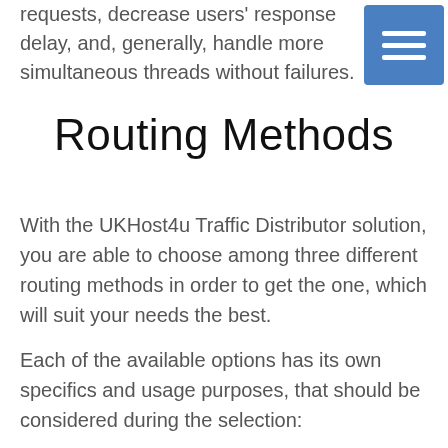requests, decrease users' response delay, and, generally, handle more simultaneous threads without failures.
[Figure (other): Blue square button with three horizontal white lines (hamburger menu icon)]
Routing Methods
With the UKHost4u Traffic Distributor solution, you are able to choose among three different routing methods in order to get the one, which will suit your needs the best.
Each of the available options has its own specifics and usage purposes, that should be considered during the selection: